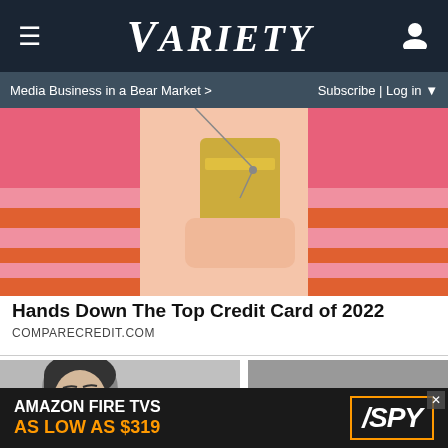VARIETY
Media Business in a Bear Market >  Subscribe | Log in
[Figure (photo): A person in a pink and orange striped top holding a gold credit card near their chin against a pink background]
Hands Down The Top Credit Card of 2022
COMPARECREDIT.COM
[Figure (photo): Black and white photo of a woman with dark hair looking concerned, alongside a man in a military cap]
[Figure (photo): Amazon Fire TVs advertisement banner: AMAZON FIRE TVS AS LOW AS $319 with SPY logo]